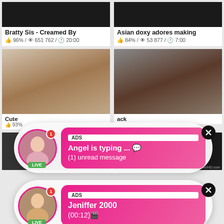[Figure (screenshot): Video thumbnail dark for 'Bratty Sis - Creamed By']
Bratty Sis - Creamed By
👍 96% / 👁 651 762 / 🕐 20:00
[Figure (screenshot): Video thumbnail dark for 'Asian doxy adores making']
Asian doxy adores making
👍 84% / 👁 53 877 / 🕐 7:00
[Figure (screenshot): Video thumbnail for Cute video]
Cute
93%
[Figure (screenshot): Video thumbnail for black scene]
ack
[Figure (infographic): ADS bubble overlay: Angel is typing... with LIVE avatar and (1) unread message]
[Figure (infographic): ADS bubble overlay: Jeniffer 2000 with LIVE avatar and (00:12)]
[Figure (screenshot): Bottom left video thumbnail]
[Figure (screenshot): Bottom right video thumbnail with EliteJAVHD.com watermark]